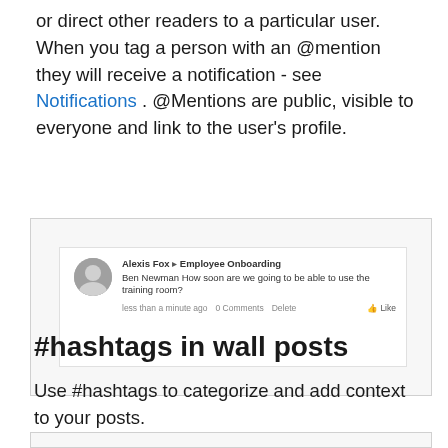or direct other readers to a particular user. When you tag a person with an @mention they will receive a notification - see Notifications . @Mentions are public, visible to everyone and link to the user's profile.
[Figure (screenshot): Screenshot of a social wall post by Alexis Fox in Employee Onboarding group, mentioning Ben Newman asking about training room availability.]
#hashtags in wall posts
Use #hashtags to categorize and add context to your posts.